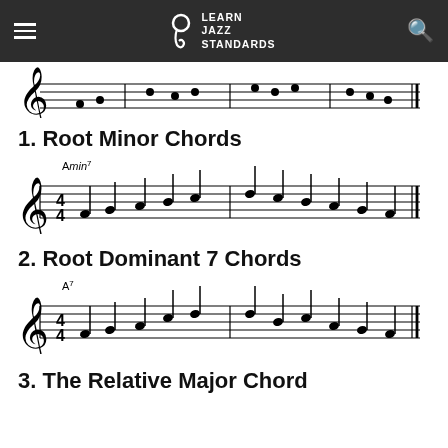Learn Jazz Standards
[Figure (illustration): Partial music staff with treble clef showing top portion of a musical passage, cut off at top of page]
1. Root Minor Chords
[Figure (illustration): Music staff in 4/4 time with treble clef labeled Amin7, showing a melodic passage with quarter notes across two measures]
2. Root Dominant 7 Chords
[Figure (illustration): Music staff in 4/4 time with treble clef labeled A7, showing a melodic passage with quarter notes across two measures]
3. The Relative Major Chord